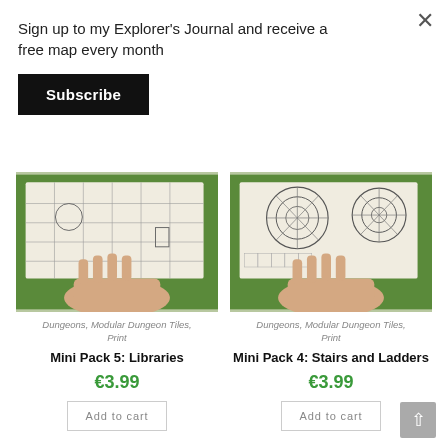Sign up to my Explorer's Journal and receive a free map every month
Subscribe
[Figure (photo): Hand holding dungeon tile map printouts with stone floor and room designs, photographed on grass]
Dungeons, Modular Dungeon Tiles, Print
Mini Pack 5: Libraries
€3.99
Add to cart
[Figure (photo): Hand holding dungeon tile map printouts with circular staircase designs, photographed on grass]
Dungeons, Modular Dungeon Tiles, Print
Mini Pack 4: Stairs and Ladders
€3.99
Add to cart